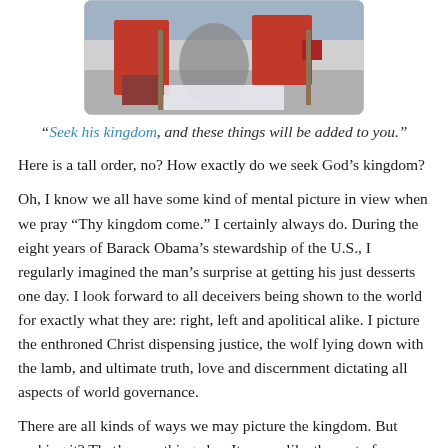[Figure (photo): Photo of people in red clothing working, partially cropped at top of page]
“Seek his kingdom, and these things will be added to you.”
Here is a tall order, no? How exactly do we seek God’s kingdom?
Oh, I know we all have some kind of mental picture in view when we pray “Thy kingdom come.” I certainly always do. During the eight years of Barack Obama’s stewardship of the U.S., I regularly imagined the man’s surprise at getting his just desserts one day. I look forward to all deceivers being shown to the world for exactly what they are: right, left and apolitical alike. I picture the enthroned Christ dispensing justice, the wolf lying down with the lamb, and ultimate truth, love and discernment dictating all aspects of world governance.
There are all kinds of ways we may picture the kingdom. But seeking it? That’s something else. It seems like the sort of aspiration in which one’s reach easily exceeds one’s grasp.